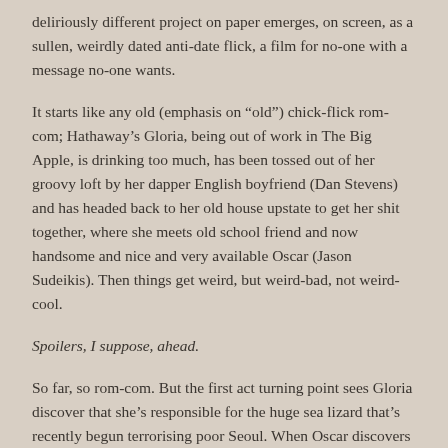deliriously different project on paper emerges, on screen, as a sullen, weirdly dated anti-date flick, a film for no-one with a message no-one wants.
It starts like any old (emphasis on “old”) chick-flick rom-com; Hathaway’s Gloria, being out of work in The Big Apple, is drinking too much, has been tossed out of her groovy loft by her dapper English boyfriend (Dan Stevens) and has headed back to her old house upstate to get her shit together, where she meets old school friend and now handsome and nice and very available Oscar (Jason Sudeikis). Then things get weird, but weird-bad, not weird-cool.
Spoilers, I suppose, ahead.
So far, so rom-com. But the first act turning point sees Gloria discover that she’s responsible for the huge sea lizard that’s recently begun terrorising poor Seoul. When Oscar discovers he’s responsible for a similarly malignant giant robot, the stage